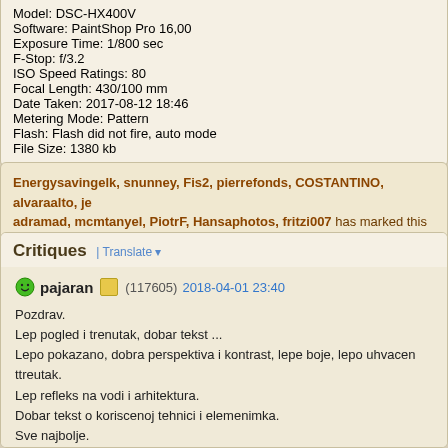Model: DSC-HX400V
Software: PaintShop Pro 16,00
Exposure Time: 1/800 sec
F-Stop: f/3.2
ISO Speed Ratings: 80
Focal Length: 430/100 mm
Date Taken: 2017-08-12 18:46
Metering Mode: Pattern
Flash: Flash did not fire, auto mode
File Size: 1380 kb
Energysavingelk, snunney, Fis2, pierrefonds, COSTANTINO, alvaraalto, je adramad, mcmtanyel, PiotrF, Hansaphotos, fritzi007 has marked this note u
Critiques | Translate
pajaran (117605) 2018-04-01 23:40
Pozdrav.
Lep pogled i trenutak, dobar tekst ...
Lepo pokazano, dobra perspektiva i kontrast, lepe boje, lepo uhvacen ttreutak.
Lep refleks na vodi i arhitektura.
Dobar tekst o koriscenoj tehnici i elemenimka.
Sve najbolje.
Paja.